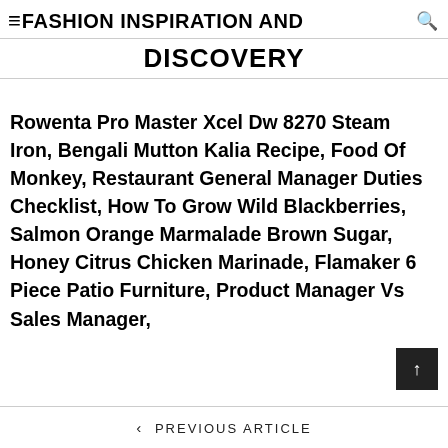≡ FASHION INSPIRATION AND DISCOVERY
Rowenta Pro Master Xcel Dw 8270 Steam Iron, Bengali Mutton Kalia Recipe, Food Of Monkey, Restaurant General Manager Duties Checklist, How To Grow Wild Blackberries, Salmon Orange Marmalade Brown Sugar, Honey Citrus Chicken Marinade, Flamaker 6 Piece Patio Furniture, Product Manager Vs Sales Manager,
‹ PREVIOUS ARTICLE